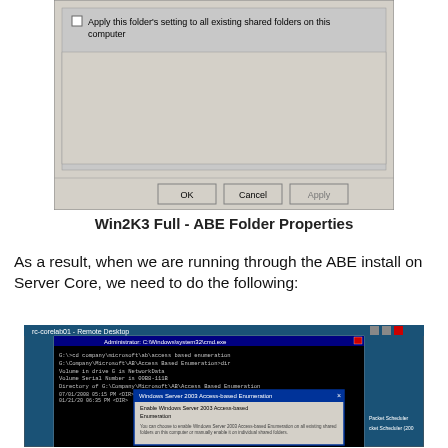[Figure (screenshot): Windows dialog box showing a checkbox option 'Apply this folder's setting to all existing shared folders on this computer' with OK, Cancel, and Apply buttons at the bottom. Win2K3 Full - ABE Folder Properties dialog.]
Win2K3 Full - ABE Folder Properties
As a result, when we are running through the ABE install on Server Core, we need to do the following:
[Figure (screenshot): Remote Desktop screenshot showing a command prompt window with directory listing of G:\Company\Microsoft\AB\Access Based Enumeration, and a dialog box for 'Windows Server 2003 Access-based Enumeration' with option to 'Enable Windows Server 2003 Access-based Enumeration' and description text about enabling on all existing shared folders or individually on shared folders.]